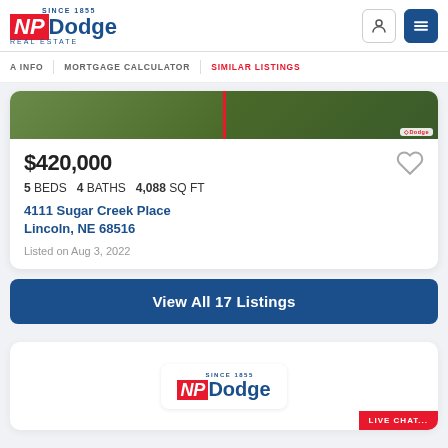[Figure (logo): NP Dodge Real Estate logo with red NP block and blue Dodge text, 'Since 1855' tagline]
NP Dodge Real Estate
A INFO   MORTGAGE CALCULATOR   SIMILAR LISTINGS
[Figure (photo): Partial view of a house listing photo showing green trees/lawn, split into two panels]
$420,000
5 BEDS   4 BATHS   4,088 SQ FT
4111 Sugar Creek Place Lincoln, NE 68516
Listed on Aug 3, 2022
View All 17 Listings
[Figure (logo): NP Dodge Real Estate logo repeated in bottom section card]